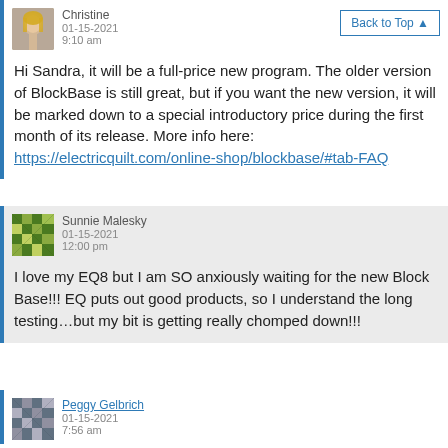Christine
01-15-2021
9:10 am
Back to Top ▲
Hi Sandra, it will be a full-price new program. The older version of BlockBase is still great, but if you want the new version, it will be marked down to a special introductory price during the first month of its release. More info here: https://electricquilt.com/online-shop/blockbase/#tab-FAQ
Sunnie Malesky
01-15-2021
12:00 pm
I love my EQ8 but I am SO anxiously waiting for the new Block Base!!! EQ puts out good products, so I understand the long testing…but my bit is getting really chomped down!!!
Peggy Gelbrich
01-15-2021
7:56 am